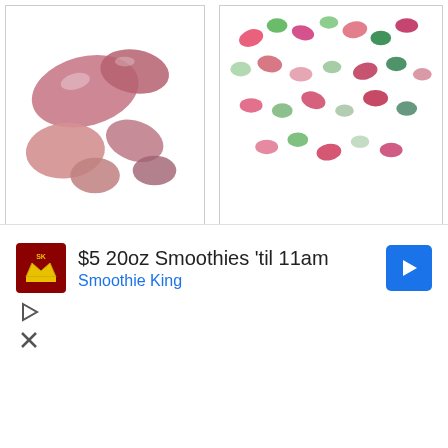[Figure (photo): Pink/red rough gemstone pieces/chips on white background]
[Figure (photo): Multiple small colorful oval cabochon gemstones scattered on white background]
[Figure (photo): Orange/amber crystal/topaz rough specimen on black background]
[Figure (photo): Purple tumbled stone/sugilite on white background]
[Figure (photo): Clear/white crystal point pyramid on white background]
[Figure (photo): White/grey mineral specimen on white background]
[Figure (infographic): Advertisement overlay: $5 20oz Smoothies 'til 11am - Smoothie King ad with logo, navigation arrow, play and close icons]